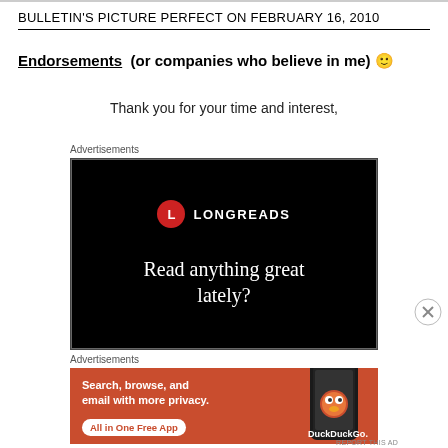BULLETIN'S PICTURE PERFECT ON FEBRUARY 16, 2010
Endorsements  (or companies who believe in me) 🙂
Thank you for your time and interest,
Advertisements
[Figure (screenshot): Longreads advertisement on black background with red circle L logo and text 'Read anything great lately?']
Advertisements
[Figure (screenshot): DuckDuckGo advertisement on orange background: 'Search, browse, and email with more privacy. All in One Free App' with phone image and DuckDuckGo logo]